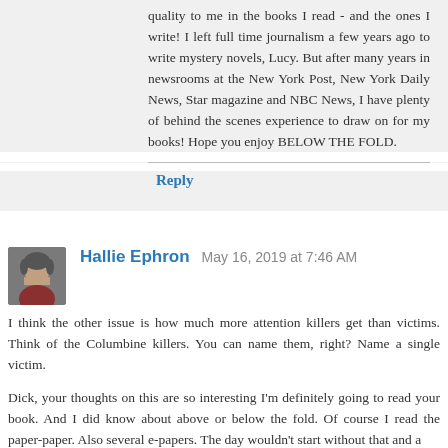quality to me in the books I read - and the ones I write! I left full time journalism a few years ago to write mystery novels, Lucy. But after many years in newsrooms at the New York Post, New York Daily News, Star magazine and NBC News, I have plenty of behind the scenes experience to draw on for my books! Hope you enjoy BELOW THE FOLD.
Reply
Hallie Ephron May 16, 2019 at 7:46 AM
I think the other issue is how much more attention killers get than victims. Think of the Columbine killers. You can name them, right? Name a single victim.
Dick, your thoughts on this are so interesting I'm definitely going to read your book. And I did know about above or below the fold. Of course I read the paper-paper. Also several e-papers. The day wouldn't start without that and a